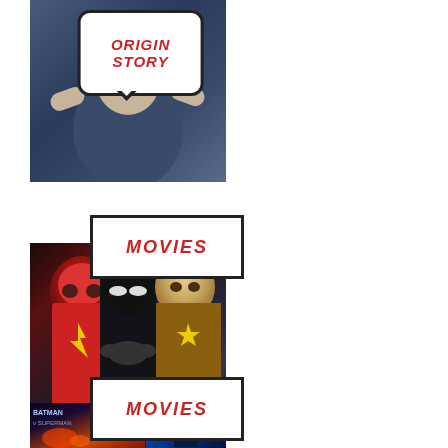[Figure (photo): Photo of a person holding a speech bubble sign that reads 'ORIGIN STORY' in red italic text, with a white rounded rectangle bubble shape and black border]
[Figure (photo): Photo of three superhero characters (The Flash in red, Batman in dark suit, Wonder Woman in gold) with a white 'MOVIES' label tag overlaid at top in red italic text on white rectangle with black border and gray shadow]
[Figure (photo): Partial photo showing movie stills (appears to be Batman-related films) with a white 'MOVIES' label tag overlaid at top in red italic text on white rectangle with black border and gray shadow, partially cut off at bottom of page]